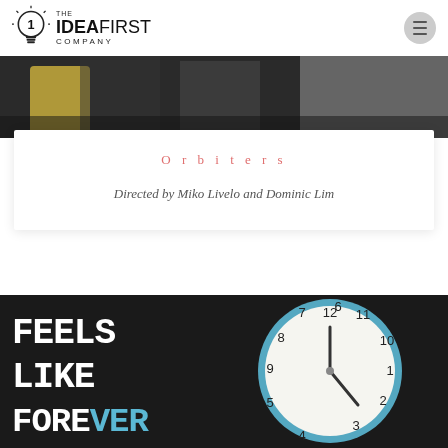[Figure (logo): The IdeaFirst Company logo with lightbulb icon]
[Figure (photo): Cropped photo showing people, partially visible at top]
Orbiters
Directed by Miko Livelo and Dominic Lim
[Figure (photo): Photo of a blue clock face with large text overlay reading FEELS LIKE FOREVER]